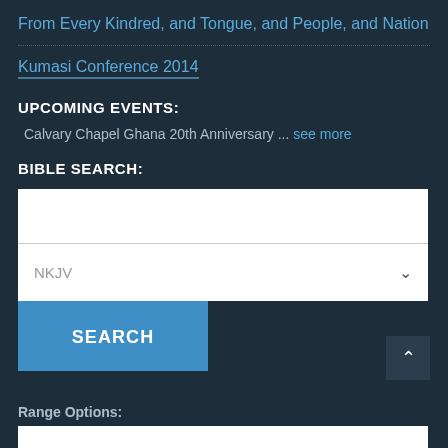From Every Kindred, and Tongue, and People, and Nation
Kumasi Conference 2014
UPCOMING EVENTS:
Calvary Chapel Ghana 20th Anniversary ... see more
BIBLE SEARCH:
[Figure (screenshot): Bible search UI with text input, NKJV dropdown selector, and SEARCH button]
Range Options: